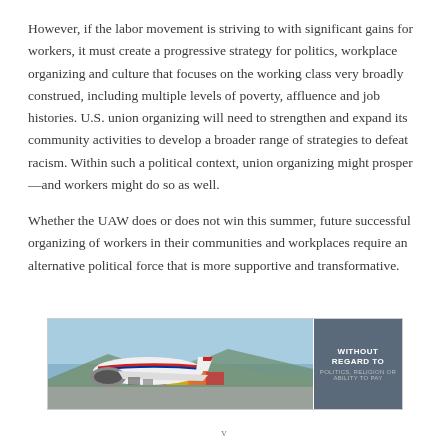However, if the labor movement is striving to with significant gains for workers, it must create a progressive strategy for politics, workplace organizing and culture that focuses on the working class very broadly construed, including multiple levels of poverty, affluence and job histories. U.S. union organizing will need to strengthen and expand its community activities to develop a broader range of strategies to defeat racism. Within such a political context, union organizing might prosper—and workers might do so as well.
Whether the UAW does or does not win this summer, future successful organizing of workers in their communities and workplaces require an alternative political force that is more supportive and transformative.
[Figure (photo): Advertisement showing cargo loading on an airplane with text overlay reading 'WITHOUT REGARD TO' on a dark panel on the right side.]
v